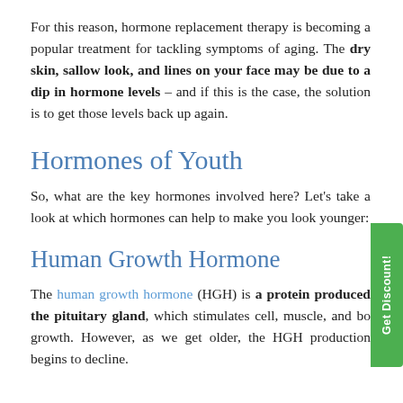For this reason, hormone replacement therapy is becoming a popular treatment for tackling symptoms of aging. The dry skin, sallow look, and lines on your face may be due to a dip in hormone levels – and if this is the case, the solution is to get those levels back up again.
Hormones of Youth
So, what are the key hormones involved here? Let's take a look at which hormones can help to make you look younger:
Human Growth Hormone
The human growth hormone (HGH) is a protein produced the pituitary gland, which stimulates cell, muscle, and bone growth. However, as we get older, the HGH production begins to decline.